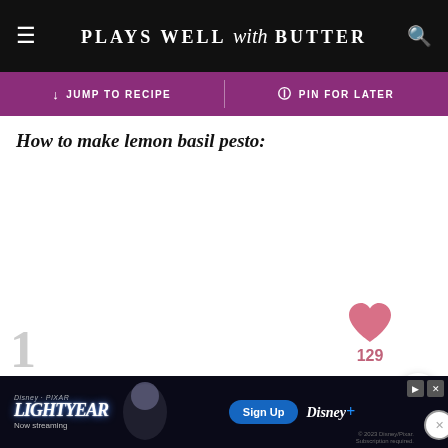PLAYS WELL with BUTTER
JUMP TO RECIPE | PIN FOR LATER
How to make lemon basil pesto:
[Figure (screenshot): Floating UI elements: pink heart icon, count 129, BUNDABERG tooltip tag, heart button, purple search button]
[Figure (screenshot): Disney Pixar Lightyear advertisement banner at bottom of page with Sign Up button and Disney+ logo]